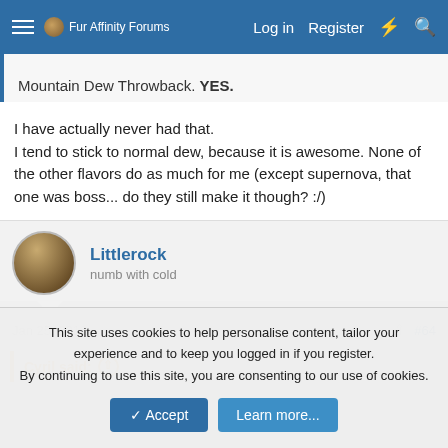Fur Affinity Forums — Log in Register
Mountain Dew Throwback. YES.
I have actually never had that.
I tend to stick to normal dew, because it is awesome. None of the other flavors do as much for me (except supernova, that one was boss... do they still make it though? :/)
Littlerock
numb with cold
Jan 25, 2012   #64
Cyril said: ↑
This site uses cookies to help personalise content, tailor your experience and to keep you logged in if you register.
By continuing to use this site, you are consenting to our use of cookies.